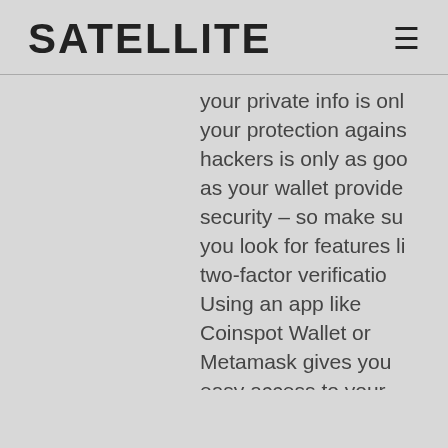SATELLITE
your private info is only your protection against hackers is only as good as your wallet provides security – so make sure you look for features like two-factor verification. Using an app like Coinspot Wallet or Metamask gives you easy access to your crypto holdings. You c
Manage all your digital assets in one secure place